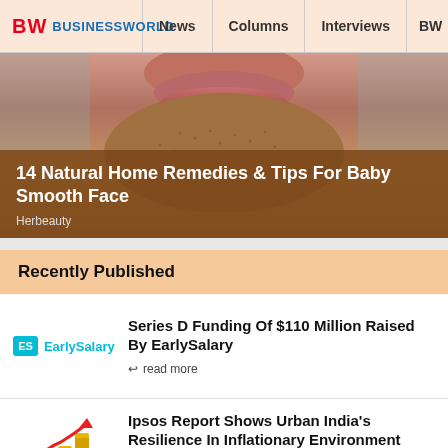BW BUSINESSWORLD | News | Columns | Interviews | BW
[Figure (photo): Close-up photo of a man's lower face with stubble, used as feature image for article about natural home remedies for baby smooth face]
14 Natural Home Remedies & Tips For Baby Smooth Face
Herbeauty
Recently Published
[Figure (logo): EarlySalary logo - teal ES box followed by EarlySalary text]
Series D Funding Of $110 Million Raised By EarlySalary
read more
[Figure (infographic): Bar chart with upward red arrow showing growth, representing Ipsos report on urban India resilience]
Ipsos Report Shows Urban India's Resilience In Inflationary Environment